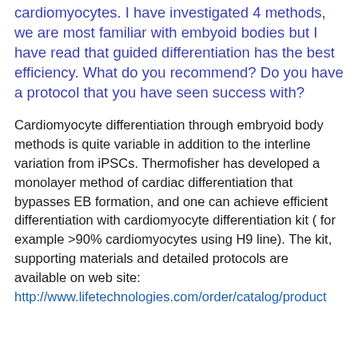cardiomyocytes. I have investigated 4 methods, we are most familiar with embyoid bodies but I have read that guided differentiation has the best efficiency. What do you recommend? Do you have a protocol that you have seen success with?
Cardiomyocyte differentiation through embryoid body methods is quite variable in addition to the interline variation from iPSCs. Thermofisher has developed a monolayer method of cardiac differentiation that bypasses EB formation, and one can achieve efficient differentiation with cardiomyocyte differentiation kit ( for example >90% cardiomyocytes using H9 line). The kit, supporting materials and detailed protocols are available on web site:
http://www.lifetechnologies.com/order/catalog/product